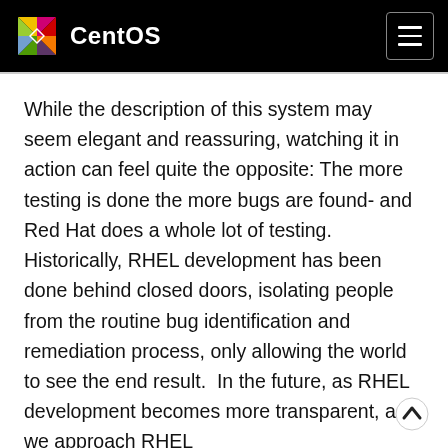CentOS
While the description of this system may seem elegant and reassuring, watching it in action can feel quite the opposite: The more testing is done the more bugs are found- and Red Hat does a whole lot of testing.  Historically, RHEL development has been done behind closed doors, isolating people from the routine bug identification and remediation process, only allowing the world to see the end result.  In the future, as RHEL development becomes more transparent, as we approach RHEL